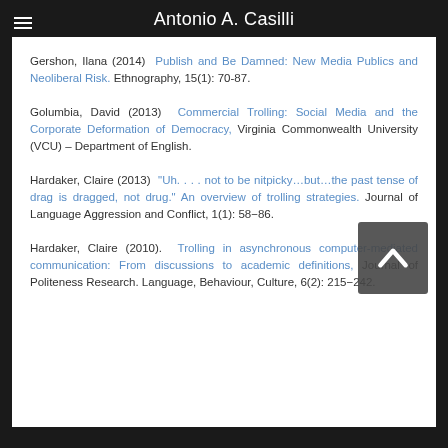Antonio A. Casilli
Gershon, Ilana (2014)  Publish and Be Damned: New Media Publics and Neoliberal Risk.  Ethnography, 15(1): 70-87.
Golumbia, David (2013)  Commercial Trolling: Social Media and the Corporate Deformation of Democracy,  Virginia Commonwealth University (VCU) – Department of English.
Hardaker, Claire (2013)  "Uh. . . . not to be nitpicky…but…the past tense of drag is dragged, not drug." An overview of trolling strategies.  Journal of Language Aggression and Conflict, 1(1): 58−86.
Hardaker, Claire (2010).  Trolling in asynchronous computer-mediated communication: From discussions to academic definitions,  Journal of Politeness Research. Language, Behaviour, Culture, 6(2): 215−242.